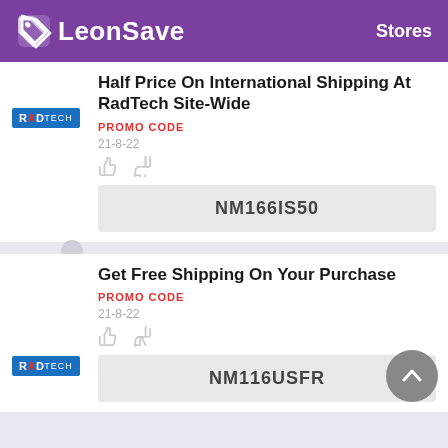LeonSave  Stores
Half Price On International Shipping At RadTech Site-Wide
PROMO CODE
21-8-22
NM166IS50
Get Free Shipping On Your Purchase
PROMO CODE
21-8-22
NM116USFR